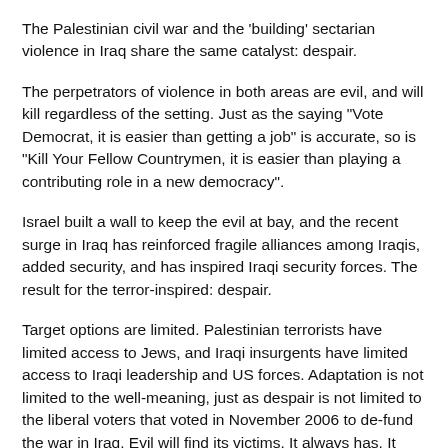The Palestinian civil war and the 'building' sectarian violence in Iraq share the same catalyst: despair.
The perpetrators of violence in both areas are evil, and will kill regardless of the setting. Just as the saying "Vote Democrat, it is easier than getting a job" is accurate, so is "Kill Your Fellow Countrymen, it is easier than playing a contributing role in a new democracy".
Israel built a wall to keep the evil at bay, and the recent surge in Iraq has reinforced fragile alliances among Iraqis, added security, and has inspired Iraqi security forces. The result for the terror-inspired: despair.
Target options are limited. Palestinian terrorists have limited access to Jews, and Iraqi insurgents have limited access to Iraqi leadership and US forces. Adaptation is not limited to the well-meaning, just as despair is not limited to the liberal voters that voted in November 2006 to de-fund the war in Iraq. Evil will find its victims. It always has. It always will.
For Palestinians, a Fatah vs. Hamas civil war. For Iraq...